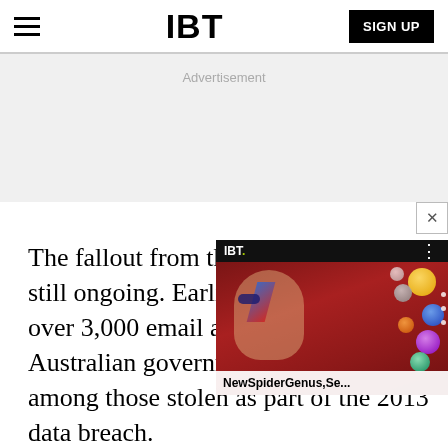IBT | SIGN UP
Advertisement
The fallout from the two cy[berattacks is] still ongoing. Earlier in the [week, it was revealed] that over 3,000 email accou[nts of high-] profile Australian government officials were among those stolen as part of the 2013 data breach.
[Figure (screenshot): IBT video player overlay showing a thumbnail with David Bowie Ziggy Stardust makeup and colorful orbs on a red background, with title 'NewSpiderGenus,Se...' and a close (X) button in the top right]